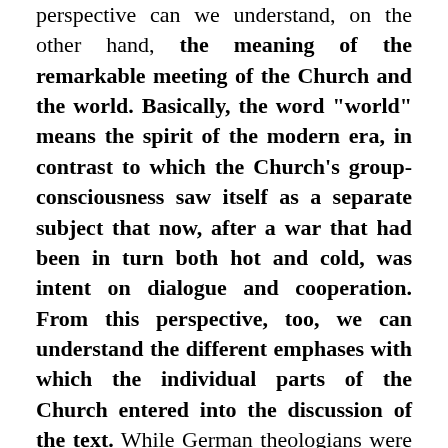perspective can we understand, on the other hand, the meaning of the remarkable meeting of the Church and the world. Basically, the word "world" means the spirit of the modern era, in contrast to which the Church's group-consciousness saw itself as a separate subject that now, after a war that had been in turn both hot and cold, was intent on dialogue and cooperation. From this perspective, too, we can understand the different emphases with which the individual parts of the Church entered into the discussion of the text. While German theologians were satisfied that their exegetical and ecumenical concepts had been incorporated, representatives of Latin